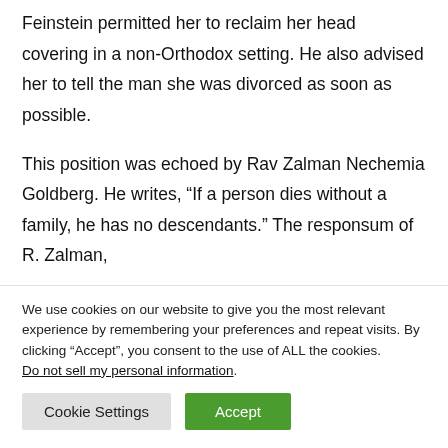Feinstein permitted her to reclaim her head covering in a non-Orthodox setting. He also advised her to tell the man she was divorced as soon as possible.
This position was echoed by Rav Zalman Nechemia Goldberg. He writes, “If a person dies without a family, he has no descendants.” The responsum of R. Zalman,
We use cookies on our website to give you the most relevant experience by remembering your preferences and repeat visits. By clicking “Accept”, you consent to the use of ALL the cookies. Do not sell my personal information.